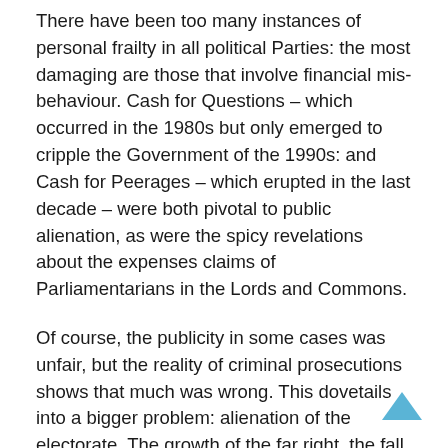There have been too many instances of personal frailty in all political Parties: the most damaging are those that involve financial mis-behaviour. Cash for Questions – which occurred in the 1980s but only emerged to cripple the Government of the 1990s: and Cash for Peerages – which erupted in the last decade – were both pivotal to public alienation, as were the spicy revelations about the expenses claims of Parliamentarians in the Lords and Commons.
Of course, the publicity in some cases was unfair, but the reality of criminal prosecutions shows that much was wrong. This dovetails into a bigger problem: alienation of the electorate. The growth of the far right, the fall in voting levels, the declining involvement in politics, and public estrangement from it, all add to the widespread feeling that Parliamentarians (of all/our politicians) are...